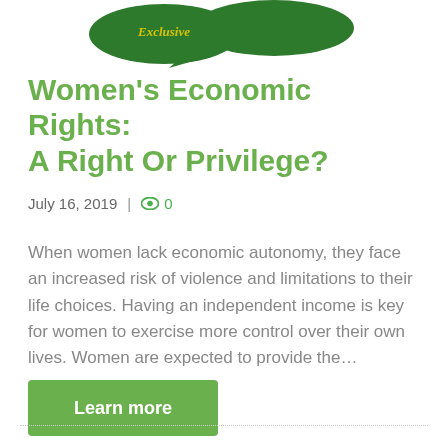[Figure (logo): Green decorative logo with speech bubble shape and cursive yellow text, partially cropped at top of page]
Women's Economic Rights: A Right Or Privilege?
July 16, 2019  |  👁 0
When women lack economic autonomy, they face an increased risk of violence and limitations to their life choices. Having an independent income is key for women to exercise more control over their own lives. Women are expected to provide the…
Learn more